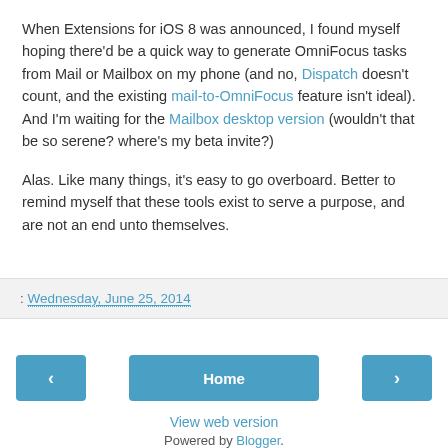When Extensions for iOS 8 was announced, I found myself hoping there'd be a quick way to generate OmniFocus tasks from Mail or Mailbox on my phone (and no, Dispatch doesn't count, and the existing mail-to-OmniFocus feature isn't ideal). And I'm waiting for the Mailbox desktop version (wouldn't that be so serene? where's my beta invite?)
Alas. Like many things, it's easy to go overboard. Better to remind myself that these tools exist to serve a purpose, and are not an end unto themselves.
: Wednesday, June 25, 2014
Home (navigation buttons)
View web version
Powered by Blogger.